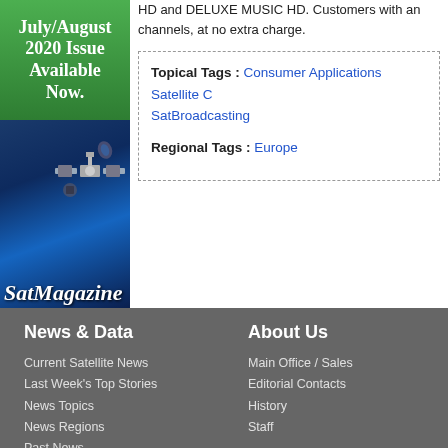[Figure (illustration): Green banner reading 'July/August 2020 Issue Available Now.' above a SatMagazine cover with satellite imagery on dark blue background]
HD and DELUXE MUSIC HD. Customers with an... channels, at no extra charge.
Topical Tags : Consumer Applications   Satellite C... SatBroadcasting
Regional Tags : Europe
News & Data
Current Satellite News
Last Week's Top Stories
News Topics
News Regions
Past News
Magazines
About Us
Main Office / Sales
Editorial Contacts
History
Staff